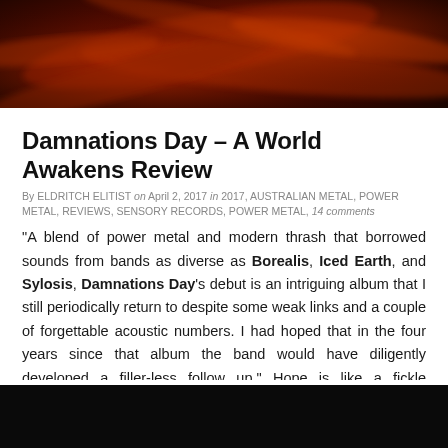[Figure (photo): Dark reddish-orange swirling nebula or cosmic cloud image used as article header]
Damnations Day – A World Awakens Review
By ELDRITCH ELITIST on April 2, 2017 in 2017, AUSTRALIAN METAL, POWER METAL, REVIEWS, SENSORY RECORDS, POWER METAL, 14 comments
"A blend of power metal and modern thrash that borrowed sounds from bands as diverse as Borealis, Iced Earth, and Sylosis, Damnations Day's debut is an intriguing album that I still periodically return to despite some weak links and a couple of forgettable acoustic numbers. I had hoped that in the four years since that album the band would have diligently developed a filler-less follow up." Hope is like a fickle seamstress.
[Figure (photo): Dark image, bottom of page, partial view]